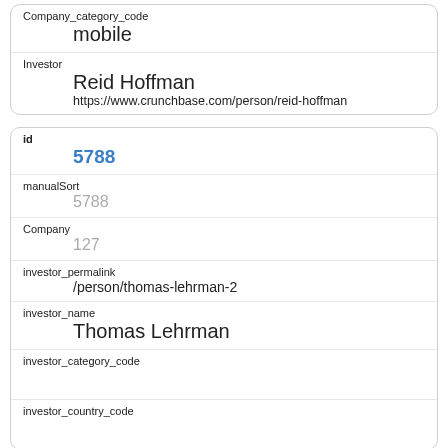| Company_category_code | mobile |
| Investor | Reid Hoffman
https://www.crunchbase.com/person/reid-hoffman |
| id | 5788 |
| manualSort | 5788 |
| Company | 127 |
| investor_permalink | /person/thomas-lehrman-2 |
| investor_name | Thomas Lehrman |
| investor_category_code |  |
| investor_country_code |  |